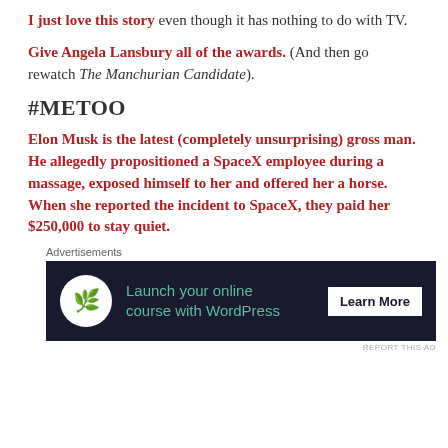I just love this story even though it has nothing to do with TV.
Give Angela Lansbury all of the awards. (And then go rewatch The Manchurian Candidate).
#METOO
Elon Musk is the latest (completely unsurprising) gross man. He allegedly propositioned a SpaceX employee during a massage, exposed himself to her and offered her a horse. When she reported the incident to SpaceX, they paid her $250,000 to stay quiet.
[Figure (other): Advertisement banner: Launch your online course with WordPress. Learn More button. Dark navy background with teal text and a WordPress-style tree icon.]
REPORT THIS AD